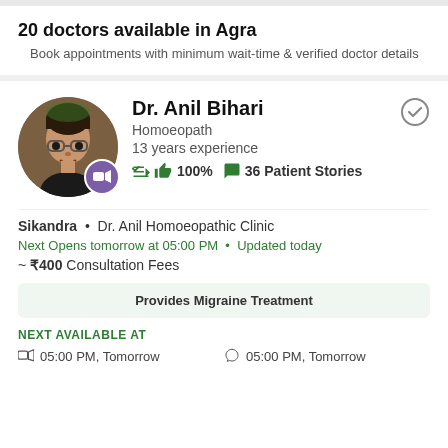20 doctors available in Agra
Book appointments with minimum wait-time & verified doctor details
Dr. Anil Bihari
Homoeopath
13 years experience
100% 36 Patient Stories
[Figure (photo): Circular profile photo of Dr. Anil Bihari, a man with glasses, with a purple video call badge at the bottom right of the avatar.]
Sikandra • Dr. Anil Homoeopathic Clinic
Next Opens tomorrow at 05:00 PM • Updated today
~ ₹400 Consultation Fees
Provides Migraine Treatment
NEXT AVAILABLE AT
05:00 PM, Tomorrow   05:00 PM, Tomorrow